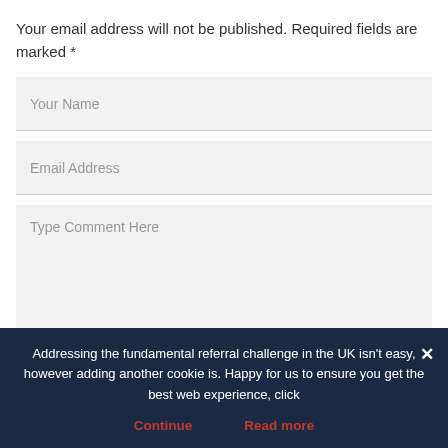Your email address will not be published. Required fields are marked *
Your Name
Email Address
Type Comment Here
Addressing the fundamental referral challenge in the UK isn't easy, however adding another cookie is. Happy for us to ensure you get the best web experience, click
Continue
Read more